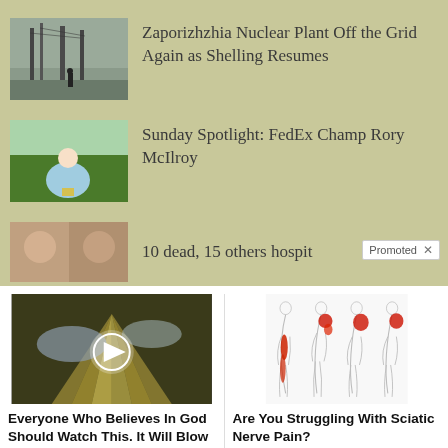[Figure (photo): News thumbnail showing nuclear plant / industrial structure with person walking]
Zaporizhzhia Nuclear Plant Off the Grid Again as Shelling Resumes
[Figure (photo): Golfer (Rory McIlroy) crouching with trophy on golf course]
Sunday Spotlight: FedEx Champ Rory McIlroy
[Figure (photo): Two face thumbnails for third news story]
10 dead, 15 others hospit
Promoted ×
[Figure (photo): Dramatic sky with sunbeams and play button overlay - video thumbnail]
Everyone Who Believes In God Should Watch This. It Will Blow Your Mind
🔥 69,239
[Figure (illustration): Medical illustration showing body silhouettes with red pain areas indicating sciatic nerve pain]
Are You Struggling With Sciatic Nerve Pain?
🔥 7,107